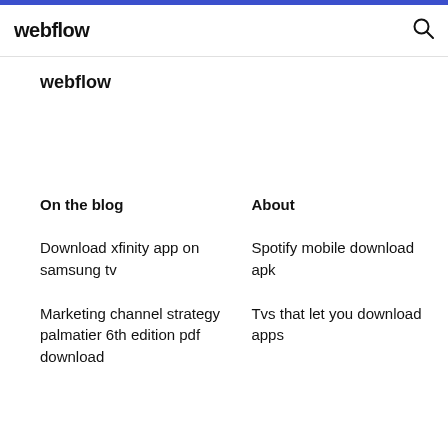webflow
webflow
On the blog
About
Download xfinity app on samsung tv
Spotify mobile download apk
Marketing channel strategy palmatier 6th edition pdf download
Tvs that let you download apps